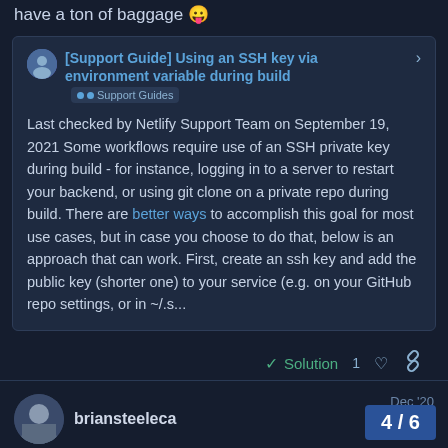have a ton of baggage 😛
[Support Guide] Using an SSH key via environment variable during build 🔵🔵 Support Guides

Last checked by Netlify Support Team on September 19, 2021 Some workflows require use of an SSH private key during build - for instance, logging in to a server to restart your backend, or using git clone on a private repo during build. There are better ways to accomplish this goal for most use cases, but in case you choose to do that, below is an approach that can work. First, create an ssh key and add the public key (shorter one) to your service (e.g. on your GitHub repo settings, or in ~/.s...
✓ Solution  1 ♥ 🔗
briansteeleca  Dec '20
Thanks so much @fool for letting me know